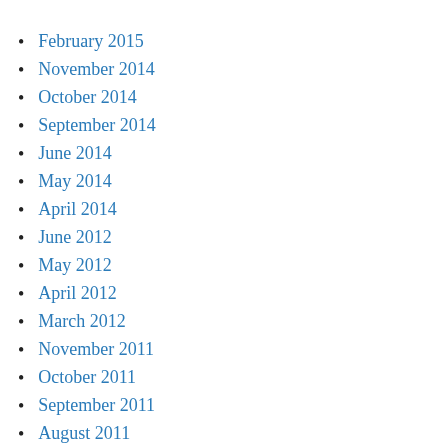February 2015
November 2014
October 2014
September 2014
June 2014
May 2014
April 2014
June 2012
May 2012
April 2012
March 2012
November 2011
October 2011
September 2011
August 2011